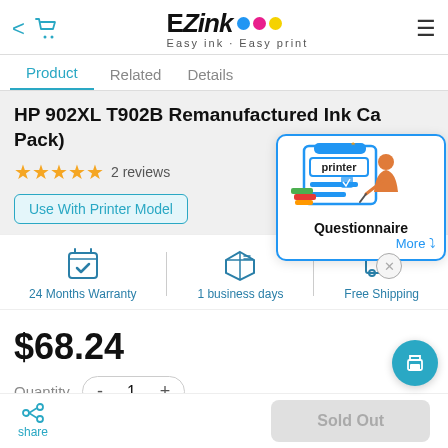EZink • Easy ink · Easy print
Product | Related | Details
HP 902XL T902B Remanufactured Ink Ca Pack)
★★★★★ 2 reviews
Use With Printer Model
[Figure (illustration): Questionnaire popup with illustration of person filling clipboard, label 'printer', with 'Questionnaire' title and 'More' link]
24 Months Warranty | 1 business days | Free Shipping
$68.24
Quantity - 1 +
share | Sold Out